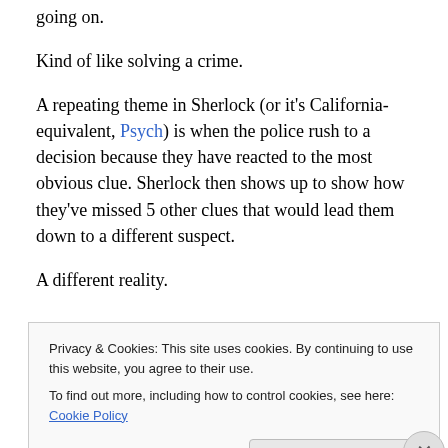going on.
Kind of like solving a crime.
A repeating theme in Sherlock (or it's California-equivalent, Psych) is when the police rush to a decision because they have reacted to the most obvious clue. Sherlock then shows up to show how they've missed 5 other clues that would lead them down to a different suspect.
A different reality.
Similarly, one of the most common mistakes I've seen
Privacy & Cookies: This site uses cookies. By continuing to use this website, you agree to their use.
To find out more, including how to control cookies, see here: Cookie Policy